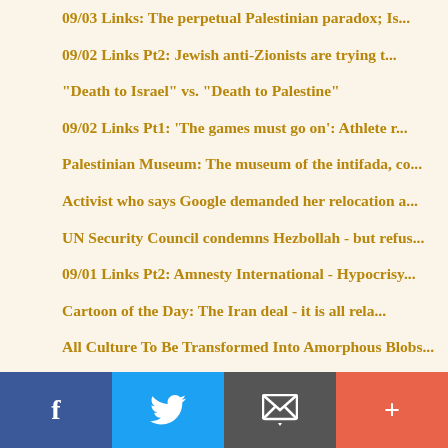09/03 Links: The perpetual Palestinian paradox; Is...
09/02 Links Pt2: Jewish anti-Zionists are trying t...
"Death to Israel" vs. "Death to Palestine"
09/02 Links Pt1: 'The games must go on': Athlete r...
Palestinian Museum: The museum of the intifada, co...
Activist who says Google demanded her relocation a...
UN Security Council condemns Hezbollah - but refus...
09/01 Links Pt2: Amnesty International - Hypocrisy...
Cartoon of the Day: The Iran deal - it is all rela...
All Culture To Be Transformed Into Amorphous Blobs...
09/01 Links Pt1: Col. Kemp: A Deal Based on Lies: ...
f  [twitter]  [email]  +